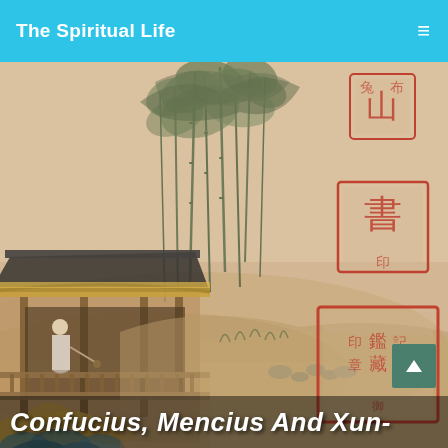The Spiritual Life
[Figure (illustration): Traditional Chinese painting depicting a scholar or figure in a pavilion surrounded by bamboo trees, rocks, and natural scenery. Red Chinese seal stamps are visible on the right side of the painting. The scene is rendered in classical East Asian ink and wash style with muted earth tones and greens.]
Confucius, Mencius And Xun-